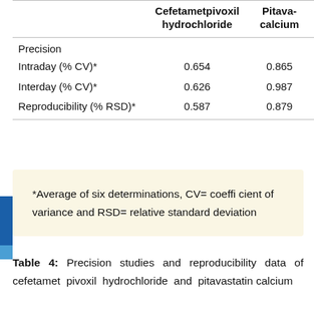|  | Cefetametpivoxil hydrochloride | Pitavastatin calcium |
| --- | --- | --- |
| Precision |  |  |
| Intraday (% CV)* | 0.654 | 0.865 |
| Interday (% CV)* | 0.626 | 0.987 |
| Reproducibility (% RSD)* | 0.587 | 0.879 |
*Average of six determinations, CV= coefficient of variance and RSD= relative standard deviation
Table 4: Precision studies and reproducibility data of cefetamet pivoxil hydrochloride and pitavastatin calcium